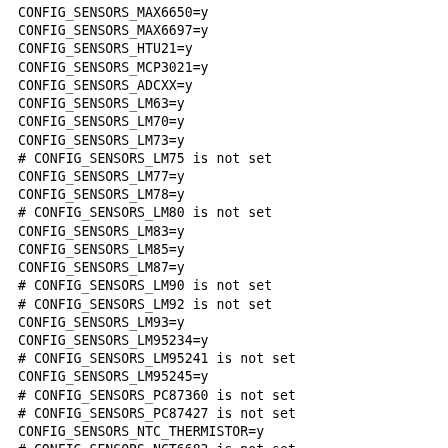CONFIG_SENSORS_MAX6650=y
CONFIG_SENSORS_MAX6697=y
CONFIG_SENSORS_HTU21=y
CONFIG_SENSORS_MCP3021=y
CONFIG_SENSORS_ADCXX=y
CONFIG_SENSORS_LM63=y
CONFIG_SENSORS_LM70=y
CONFIG_SENSORS_LM73=y
# CONFIG_SENSORS_LM75 is not set
CONFIG_SENSORS_LM77=y
CONFIG_SENSORS_LM78=y
# CONFIG_SENSORS_LM80 is not set
CONFIG_SENSORS_LM83=y
CONFIG_SENSORS_LM85=y
CONFIG_SENSORS_LM87=y
# CONFIG_SENSORS_LM90 is not set
# CONFIG_SENSORS_LM92 is not set
CONFIG_SENSORS_LM93=y
CONFIG_SENSORS_LM95234=y
# CONFIG_SENSORS_LM95241 is not set
CONFIG_SENSORS_LM95245=y
# CONFIG_SENSORS_PC87360 is not set
# CONFIG_SENSORS_PC87427 is not set
CONFIG_SENSORS_NTC_THERMISTOR=y
# CONFIG_SENSORS_NCT6683 is not set